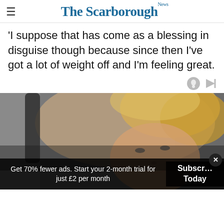The Scarborough News
'I suppose that has come as a blessing in disguise though because since then I've got a lot of weight off and I'm feeling great.
[Figure (photo): A blonde woman lying on a grey couch, looking up at the camera with one arm raised near her head]
Get 70% fewer ads. Start your 2-month trial for just £2 per month
Subscribe Today